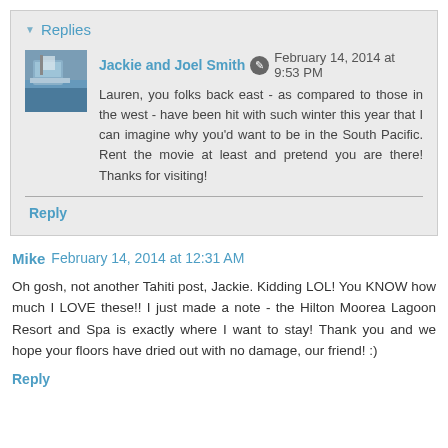Replies
Jackie and Joel Smith  February 14, 2014 at 9:53 PM
Lauren, you folks back east - as compared to those in the west - have been hit with such winter this year that I can imagine why you'd want to be in the South Pacific. Rent the movie at least and pretend you are there! Thanks for visiting!
Reply
Mike  February 14, 2014 at 12:31 AM
Oh gosh, not another Tahiti post, Jackie. Kidding LOL! You KNOW how much I LOVE these!! I just made a note - the Hilton Moorea Lagoon Resort and Spa is exactly where I want to stay! Thank you and we hope your floors have dried out with no damage, our friend! :)
Reply